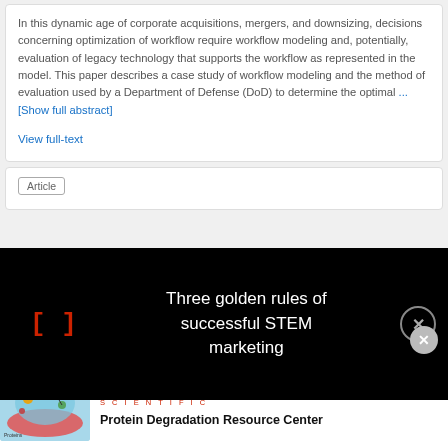In this dynamic age of corporate acquisitions, mergers, and downsizing, decisions concerning optimization of workflow require workflow modeling and, potentially, evaluation of legacy technology that supports the workflow as represented in the model. This paper describes a case study of workflow modeling and the method of evaluation used by a Department of Defense (DoD) to determine the optimal ... [Show full abstract]
View full-text
Article
[Figure (screenshot): Black overlay banner with red bracket symbol '[]' on the left and white text 'Three golden rules of successful STEM marketing' on the right, with a close (X) button in the top-right corner.]
[Figure (infographic): Thermo Fisher Scientific advertisement showing a light blue biology/cell diagram illustration on the left, the Thermo Fisher Scientific logo in red, and text 'Protein Degradation Resource Center'.]